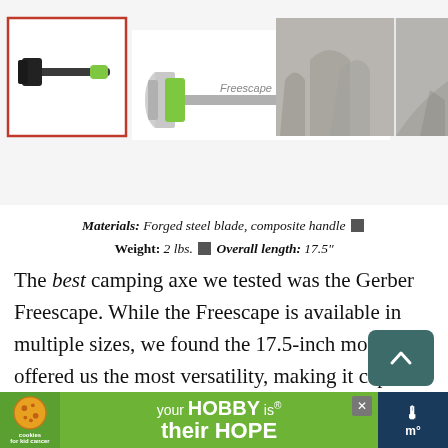[Figure (photo): Product image strip showing a camping axe (Gerber Freescape) thumbnail selected with red border, main product image of axe on white background, and three outdoor/nature photo thumbnails on the right.]
Materials: Forged steel blade, composite handle ■ Weight: 2 lbs. ■ Overall length: 17.5"
The best camping axe we tested was the Gerber Freescape. While the Freescape is available in multiple sizes, we found the 17.5-inch model offered us the most versatility, making it capable of carrying out
[Figure (infographic): Advertisement banner at the bottom: cookies for kid cancer logo on left, text reading 'your HOBBY is their HOPE' in white on green background, close button, and weather widget on right.]